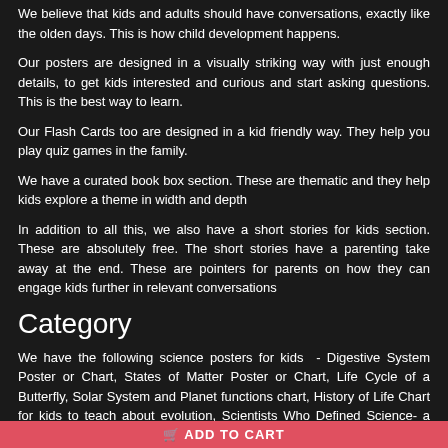We believe that kids and adults should have conversations, exactly like the olden days. This is how child development happens.
Our posters are designed in a visually striking way with just enough details, to get kids interested and curious and start asking questions. This is the best way to learn.
Our Flash Cards too are designed in a kid friendly way. They help you play quiz games in the family.
We have a curated book box section. These are thematic and they help kids explore a theme in width and depth
In addition to all this, we also have a short stories for kids section. These are absolutely free. The short stories have a parenting take away at the end. These are pointers for parents on how they can engage kids further in relevant conversations
Category
We have the following science posters for kids  - Digestive System Poster or Chart, States of Matter Poster or Chart, Life Cycle of a Butterfly, Solar System and Planet functions chart, History of Life Chart for kids to teach about evolution, Scientists Who Defined Science- a poster on famous scientists, Respiratory System Diagram
ADD TO CART